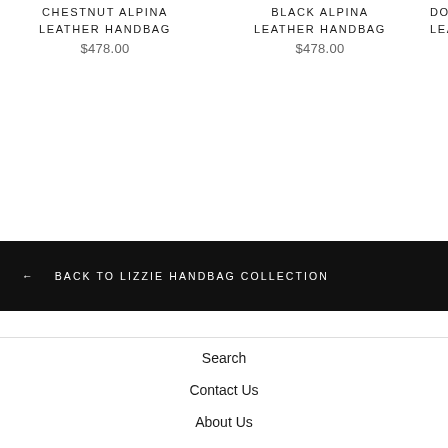CHESTNUT ALPINA LEATHER HANDBAG
$478.00
BLACK ALPINA LEATHER HANDBAG
$478.00
DOV LEA
← BACK TO LIZZIE HANDBAG COLLECTION
Search
Contact Us
About Us
Stores
Shipping